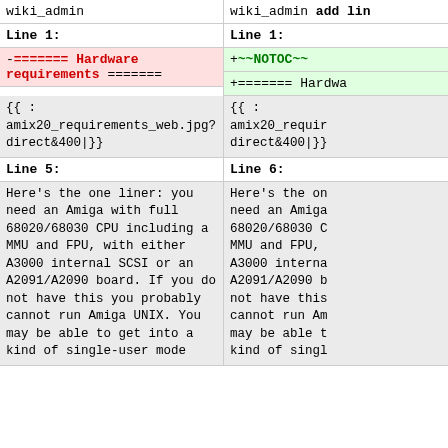wiki_admin (left) | wiki_admin add lin (right)
Line 1: (left) | Line 1: (right)
-======= Hardware requirements ======= (removed, left) | +~~NOTOC~~ (added, right)
+======= Hardwa (added, right)
{{ : amix20_requirements_web.jpg?direct&400|}} (left) | {{ : amix20_requir direct&400|}} (right)
Line 5: (left) | Line 6: (right)
Here's the one liner: you need an Amiga with full 68020/68030 CPU including a MMU and FPU, with either A3000 internal SCSI or an A2091/A2090 board. If you do not have this you probably cannot run Amiga UNIX. You may be able to get into a kind of single-user mode